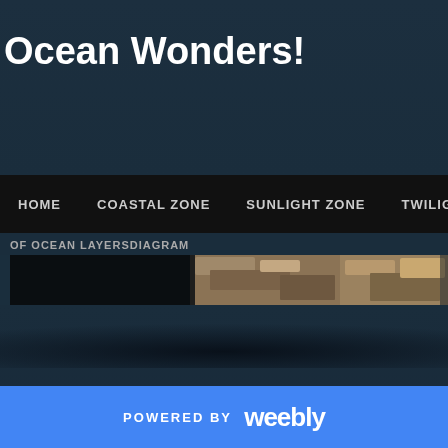Ocean Wonders!
HOME   COASTAL ZONE   SUNLIGHT ZONE   TWILIGHT ZON
OF OCEAN LAYERSDIAGRAM
[Figure (photo): A horizontal photo strip showing underwater/ocean imagery with rocky seafloor textures]
POWERED BY weebly